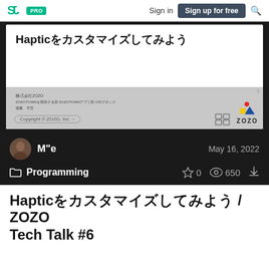SJ PRO  Sign in  Sign up for free  🔍
[Figure (screenshot): Slide preview showing Japanese text 'Hapticをカスタマイズしてみよう' with ZOZO company branding at bottom]
M"e   May 16, 2022
Programming   0   650
Hapticをカスタマイズしてみよう / ZOZO Tech Talk #6